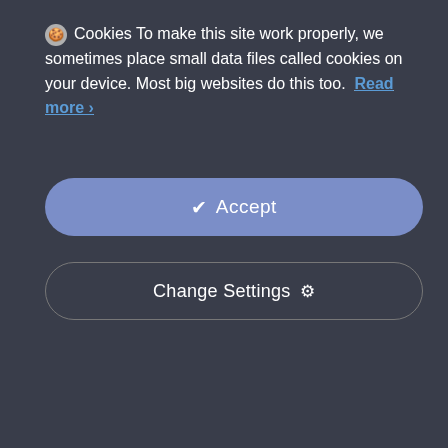🍪 Cookies To make this site work properly, we sometimes place small data files called cookies on your device. Most big websites do this too. Read more ›
✔ Accept
Change Settings ⚙
[Figure (screenshot): Two baby strollers shown side by side with shopping cart and heart icons below each]
Детска количка trio Move
17.999ден
Детска количка trio Move
17.999ден
[Figure (photo): Bottom portion of two more baby stroller products, left one in blue/white, right one partially visible with -20% sale badge]